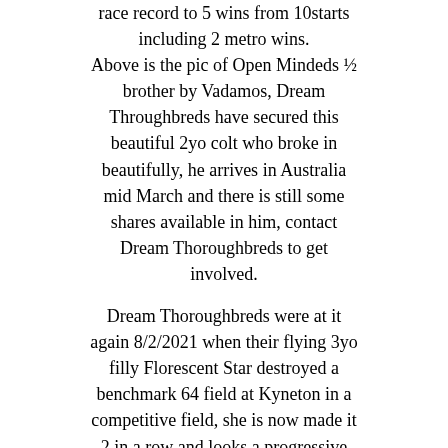race record to 5 wins from 10starts including 2 metro wins. Above is the pic of Open Mindeds ½ brother by Vadamos, Dream Throughbreds have secured this beautiful 2yo colt who broke in beautifully, he arrives in Australia mid March and there is still some shares available in him, contact Dream Thoroughbreds to get involved.
Dream Thoroughbreds were at it again 8/2/2021 when their flying 3yo filly Florescent Star destroyed a benchmark 64 field at Kyneton in a competitive field, she is now made it 2 in a row and looks a progressive filly, credit must go to the Yargi racing team who have done a